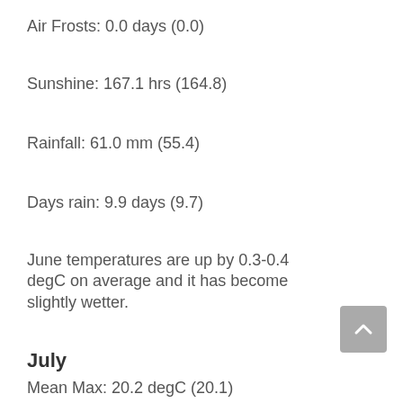Air Frosts: 0.0 days (0.0)
Sunshine: 167.1 hrs (164.8)
Rainfall: 61.0 mm (55.4)
Days rain: 9.9 days (9.7)
June temperatures are up by 0.3-0.4 degC on average and it has become slightly wetter.
July
Mean Max: 20.2 degC (20.1)